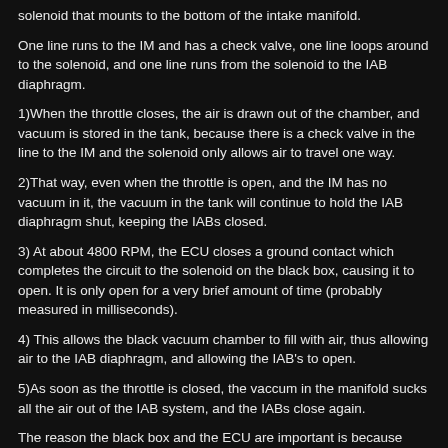solenoid that mounts to the bottom of the intake manifold.
One line runs to the IM and has a check valve, one line loops around to the solenoid, and one line runs from the solenoid to the IAB diaphragm.
1)When the throttle closes, the air is drawn out of the chamber, and vacuum is stored in the tank, because there is a check valve in the line to the IM and the solenoid only allows air to travel one way.
2)That way, even when the throttle is open, and the IM has no vacuum in it, the vacuum in the tank will continue to hold the IAB diaphragm shut, keeping the IABs closed.
3) At about 4800 RPM, the ECU closes a ground contact which completes the circuit to the solenoid on the black box, causing it to open. It is only open for a very brief amount of time (probably measured in milliseconds).
4) This allows the black vacuum chamber to fill with air, thus allowing air to the IAB diaphragm, and allowing the IAB's to open.
5)As soon as the throttle is closed, the vaccum in the manifold sucks all the air out of the IAB system, and the IABs close again.
The reason the black box and the ECU are important is because without the black box, there is no way to control when the IAB's will open.
If we don't connect the vacuum line to anything, they will always be open, because there is no vacuum to keep them closed.
If we connect the line directly to the IM, it will recieve the proper vacuum when the throttle position is closed enough to create a slight vacuum (usually about -3 to -6 InHG). As soon as you go full throttle, or open the throttle